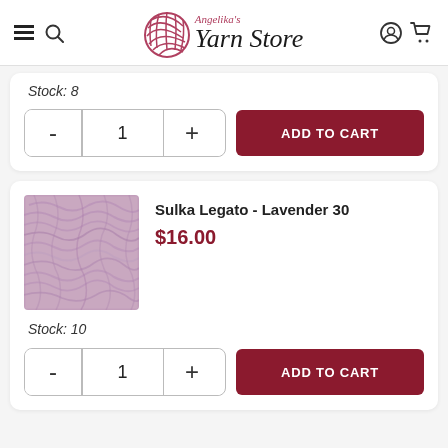Angelika's Yarn Store
Stock: 8
- 1 + ADD TO CART
[Figure (photo): Lavender-colored yarn skein/ball for Sulka Legato - Lavender 30]
Sulka Legato - Lavender 30
$16.00
Stock: 10
- 1 + ADD TO CART